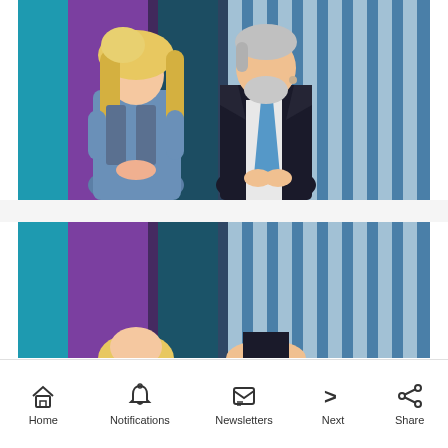[Figure (photo): Two people on stage with colorful striped blue/white and purple/teal backdrop. Left: woman with long blonde hair wearing denim jacket. Right: older man in black suit with blue tie, grey hair and beard, appearing to speak.]
[Figure (photo): Partial second photo showing the same or similar stage setting with colorful striped backdrop, with partial figures visible at the bottom of the frame.]
Home  Notifications  Newsletters  Next  Share